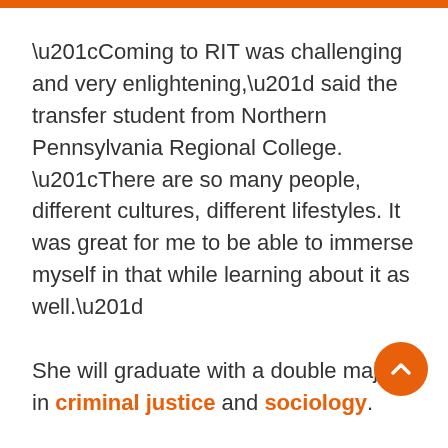“Coming to RIT was challenging and very enlightening,” said the transfer student from Northern Pennsylvania Regional College. “There are so many people, different cultures, different lifestyles. It was great for me to be able to immerse myself in that while learning about it as well.”
She will graduate with a double major in criminal justice and sociology.
This spring semester she interned with Rochester’s Society for Protection and Care of Children, contributing technical skills so common to Gen Z, improving its website, as well as targeting public policy issues for constituents. This work, as well as experience in the military prior to coming to RIT, positions Paylock well for the restorative